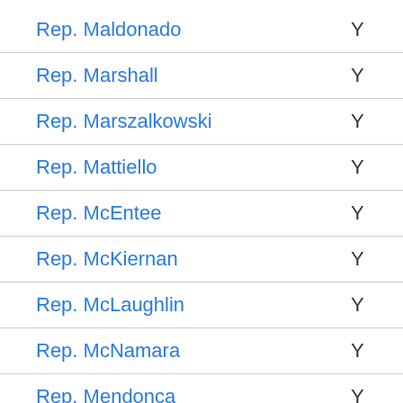| Name | Vote |
| --- | --- |
| Rep. Maldonado | Y |
| Rep. Marshall | Y |
| Rep. Marszalkowski | Y |
| Rep. Mattiello | Y |
| Rep. McEntee | Y |
| Rep. McKiernan | Y |
| Rep. McLaughlin | Y |
| Rep. McNamara | Y |
| Rep. Mendonca | Y |